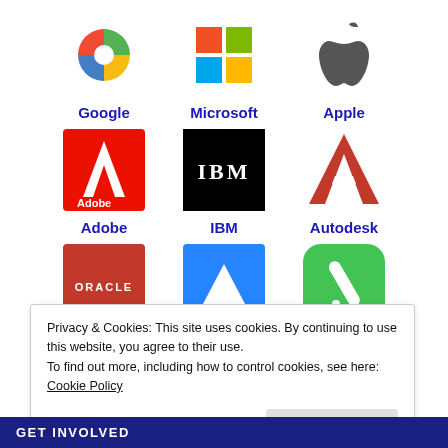[Figure (logo): Grid of 9 company logos: Google, Microsoft, Apple, Adobe, IBM, Autodesk, Oracle, Atlassian, Corel with company names]
Privacy & Cookies: This site uses cookies. By continuing to use this website, you agree to their use.
To find out more, including how to control cookies, see here: Cookie Policy
Close and accept
GET INVOLVED